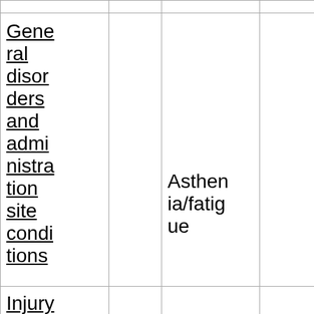|  |  |  |  |  |
| General disorders and administration site conditions |  | Asthenia/fatigue |  |  |
| Injury, poiso... |  |  |  |  |